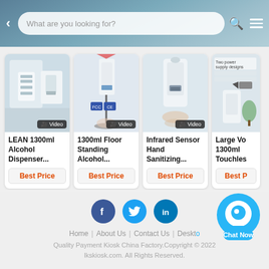What are you looking for?
[Figure (screenshot): Product card 1: LEAN 1300ml Alcohol Dispenser... with Video badge]
LEAN 1300ml Alcohol Dispenser...
Best Price
[Figure (screenshot): Product card 2: 1300ml Floor Standing Alcohol... with Video badge]
1300ml Floor Standing Alcohol...
Best Price
[Figure (screenshot): Product card 3: Infrared Sensor Hand Sanitizing... with Video badge]
Infrared Sensor Hand Sanitizing...
Best Price
[Figure (screenshot): Product card 4 (partially visible): Large Vo 1300ml Touchles...]
Large Vo 1300ml Touchles
Best P
[Figure (logo): Social media icons: Facebook, Twitter, LinkedIn circles and Chat Now button]
Home | About Us | Contact Us | Deskt...
Quality Payment Kiosk China Factory.Copyright © 2022 lkskiosk.com. All Rights Reserved.